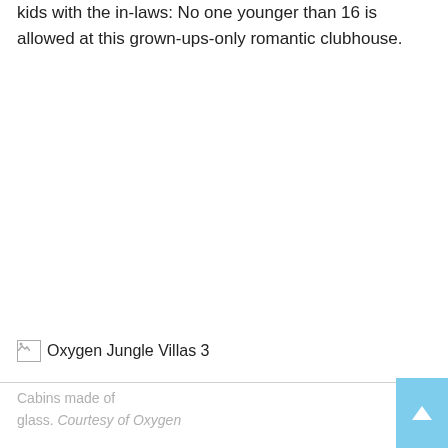kids with the in-laws: No one younger than 16 is allowed at this grown-ups-only romantic clubhouse.
[Figure (photo): Broken image placeholder labeled 'Oxygen Jungle Villas 3']
Cabins made of glass. Courtesy of Oxygen